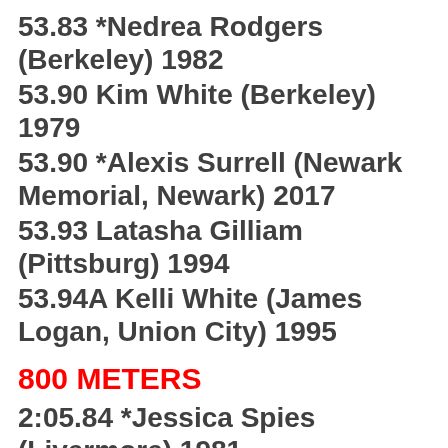53.83 *Nedrea Rodgers (Berkeley) 1982
53.90 Kim White (Berkeley) 1979
53.90 *Alexis Surrell (Newark Memorial, Newark) 2017
53.93 Latasha Gilliam (Pittsburg) 1994
53.94A Kelli White (James Logan, Union City) 1995
800 METERS
2:05.84 *Jessica Spies (Livermore) 1981
2:06.86 **Alyssa Brewer (California, San Ramon) 2016
2:07.25 Becky Spies (Livermore) 1991
2:07.9h Kathy Costello (Pleasant Hill) 1975
2:08.22 Katie Hotchkiss (Mission San Jose, Fremont) 1999
2:09.10 **Morgan Banks (Sir Francis